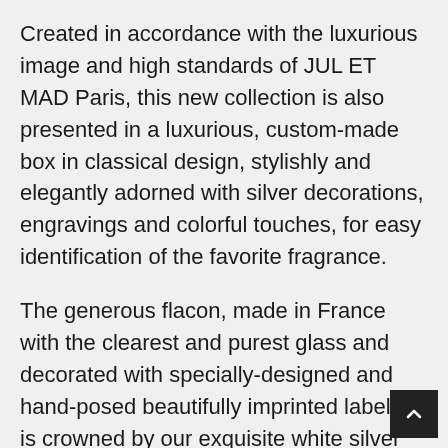Created in accordance with the luxurious image and high standards of JUL ET MAD Paris, this new collection is also presented in a luxurious, custom-made box in classical design, stylishly and elegantly adorned with silver decorations, engravings and colorful touches, for easy identification of the favorite fragrance.
The generous flacon, made in France with the clearest and purest glass and decorated with specially-designed and hand-posed beautifully imprinted labels, is crowned by our exquisite white silver signature-cap. This exclusive piece, impressing by its weight and quality, is engraved with the logo symbol for further personalization the magnificent offer.